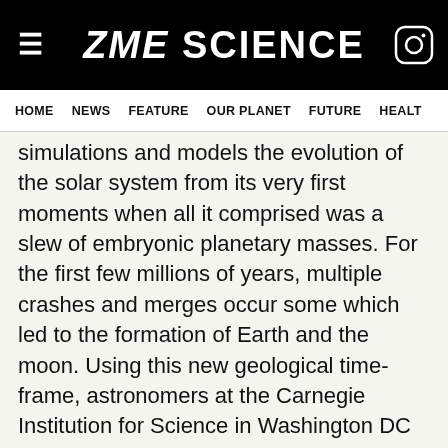ZME SCIENCE
HOME  NEWS  FEATURE  OUR PLANET  FUTURE  HEALT
simulations and models the evolution of the solar system from its very first moments when all it comprised was a slew of embryonic planetary masses. For the first few millions of years, multiple crashes and merges occur some which led to the formation of Earth and the moon. Using this new geological time-frame, astronomers at the Carnegie Institution for Science in Washington DC found that the primordial impact that caused the Earth to lose its last big chunk occurred some 95 million years after the birth of the solar system. This means that the moon started forming up to 65 millions years later than previous